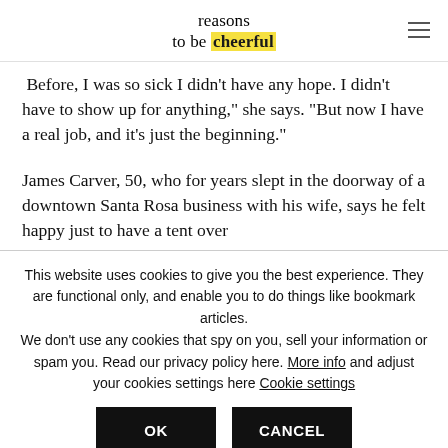reasons to be cheerful
Before, I was so sick I didn't have any hope. I didn't have to show up for anything," she says. "But now I have a real job, and it's just the beginning."
James Carver, 50, who for years slept in the doorway of a downtown Santa Rosa business with his wife, says he felt happy just to have a tent over
This website uses cookies to give you the best experience. They are functional only, and enable you to do things like bookmark articles. We don't use any cookies that spy on you, sell your information or spam you. Read our privacy policy here. More info and adjust your cookies settings here Cookie settings
OK
CANCEL